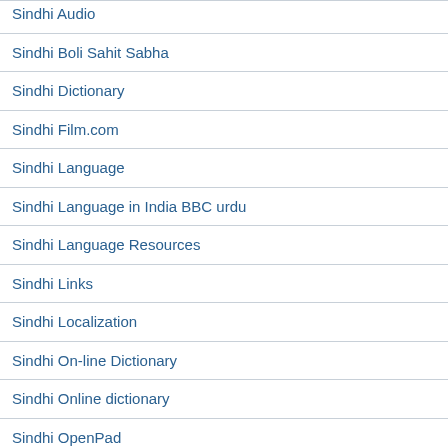Sindhi Audio
Sindhi Boli Sahit Sabha
Sindhi Dictionary
Sindhi Film.com
Sindhi Language
Sindhi Language in India BBC urdu
Sindhi Language Resources
Sindhi Links
Sindhi Localization
Sindhi On-line Dictionary
Sindhi Online dictionary
Sindhi OpenPad